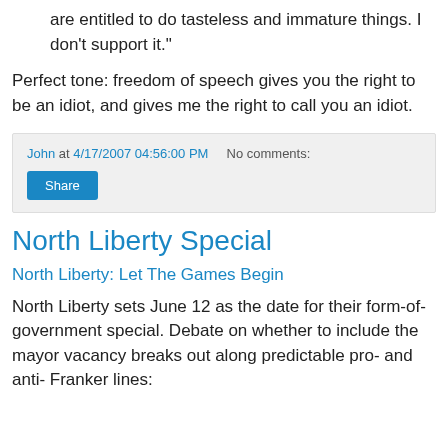are entitled to do tasteless and immature things. I don't support it."
Perfect tone: freedom of speech gives you the right to be an idiot, and gives me the right to call you an idiot.
John at 4/17/2007 04:56:00 PM    No comments:
Share
North Liberty Special
North Liberty: Let The Games Begin
North Liberty sets June 12 as the date for their form-of-government special. Debate on whether to include the mayor vacancy breaks out along predictable pro- and anti- Franker lines: